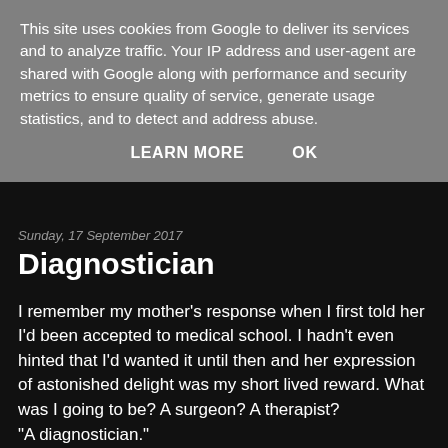This site uses cookies from Google to deliver its services and to analyze traffic. Your IP address and user-agent are shared with Google along with performance and security metrics to ensure quality of service, generate usage statistics, and to detect and address abuse.
LEARN MORE   OK
Sunday, 17 September 2017
Diagnostician
I remember my mother’s response when I first told her I’d been accepted to medical school. I hadn’t even hinted that I’d wanted it until then and her expression of astonished delight was my short lived reward. What was I going to be? A surgeon? A therapist?
“A diagnostician.”
She fought hard to hide it, but I saw her pain and despair in the way the light went out of her eyes, and I heard it in the quiet praise which contained equal measures of pride and